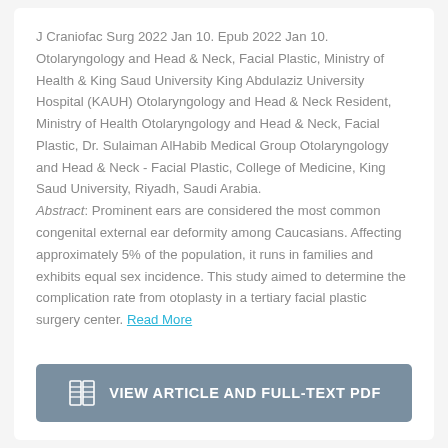J Craniofac Surg 2022 Jan 10. Epub 2022 Jan 10. Otolaryngology and Head & Neck, Facial Plastic, Ministry of Health & King Saud University King Abdulaziz University Hospital (KAUH) Otolaryngology and Head & Neck Resident, Ministry of Health Otolaryngology and Head & Neck, Facial Plastic, Dr. Sulaiman AlHabib Medical Group Otolaryngology and Head & Neck - Facial Plastic, College of Medicine, King Saud University, Riyadh, Saudi Arabia. Abstract: Prominent ears are considered the most common congenital external ear deformity among Caucasians. Affecting approximately 5% of the population, it runs in families and exhibits equal sex incidence. This study aimed to determine the complication rate from otoplasty in a tertiary facial plastic surgery center. Read More
[Figure (other): Button labeled VIEW ARTICLE AND FULL-TEXT PDF with a book/document icon]